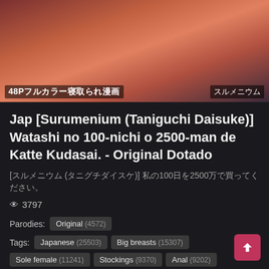[Figure (illustration): Manga/anime style illustration thumbnail with Japanese text overlay reading '48Pフルカラー寝取られ漫画' on the left and 'スルメニウム' on the right]
Jap [Surumenium (Taniguchi Daisuke)] Watashi no 100-nichi o 2500-man de Katte Kudasai. - Original Dotado
[スルメニウム (タニグチダイスケ)] 私の100日を2500万で買ってください。
👁 3797
Parodies: Original (4572)
Tags: Japanese (25503)  Big breasts (15307)  Sole female (11241)  Stockings (9370)  Anal (9202)  Nakadashi (6736)  Blowjob (6061)  Full color (5504)  Mosaic censorship (3865)  X-ray (3085)  Sex toys (2971)  Netorare (3519)  Dilf (3272)